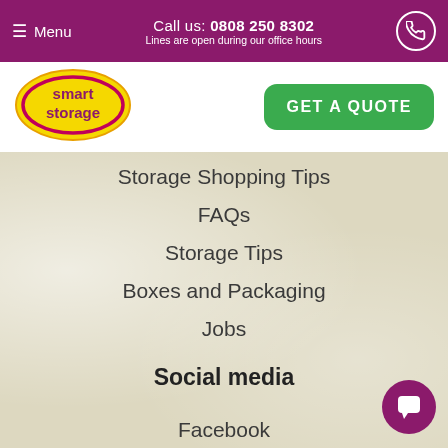Menu | Call us: 0808 250 8302 | Lines are open during our office hours
[Figure (logo): Smart Storage logo — yellow oval with pink/purple text reading 'smart storage']
GET A QUOTE
Storage Shopping Tips
FAQs
Storage Tips
Boxes and Packaging
Jobs
Social media
Facebook